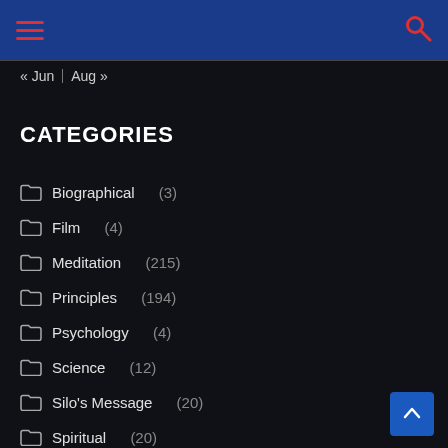Navigation header with menu and search icons
« Jun | Aug »
CATEGORIES
Biographical (3)
Film (4)
Meditation (215)
Principles (194)
Psychology (4)
Science (12)
Silo's Message (20)
Spiritual (20)